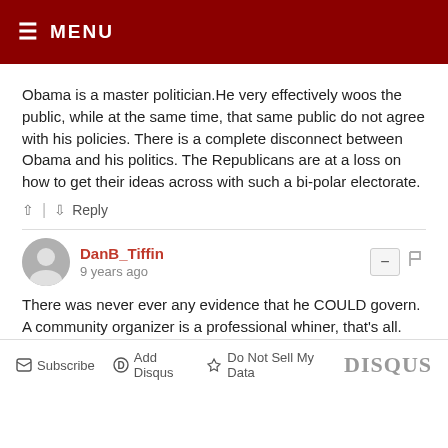☰ MENU
Obama is a master politician.He very effectively woos the public, while at the same time, that same public do not agree with his policies. There is a complete disconnect between Obama and his politics. The Republicans are at a loss on how to get their ideas across with such a bi-polar electorate.
DanB_Tiffin
9 years ago
There was never ever any evidence that he COULD govern. A community organizer is a professional whiner, that's all.
Subscribe  Add Disqus  Do Not Sell My Data  DISQUS